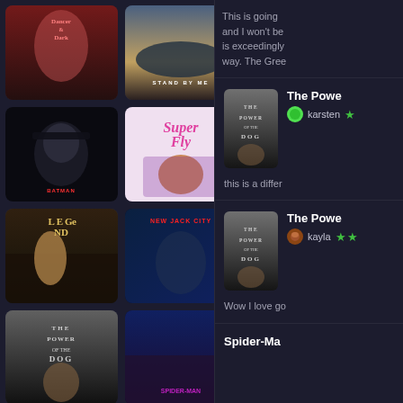[Figure (screenshot): Movie poster grid with film posters: Dancer in the Dark, Stand By Me, Cooley High, Batman (masked face), Super Fly, Jackass Forever, Legend, New Jack City, Licorice Pizza, The Power of the Dog, Spider-Man, John Q]
This is going and I won't be is exceedingly way. The Gree
[Figure (screenshot): Mini poster for The Power of the Dog]
The Powe
karsten ★
this is a differ
[Figure (screenshot): Mini poster for The Power of the Dog]
The Powe
kayla ★★
Wow I love go
Spider-Ma